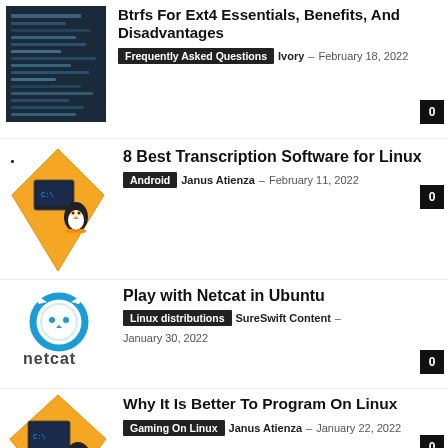[Figure (screenshot): Dark terminal/code screenshot thumbnail]
Btrfs For Ext4 Essentials, Benefits, And Disadvantages
Frequently Asked Questions  Ivory – February 18, 2022  0
[Figure (illustration): Linux penguin on orange diamond with computer]
8 Best Transcription Software for Linux
Android  Janus Atienza – February 11, 2022  0
[Figure (logo): Netcat logo - blue circle/cat icon with netcat text]
Play with Netcat in Ubuntu
Linux distributions  SureSwift Content – January 30, 2022  0
[Figure (illustration): Linux penguin on orange diamond with computer]
Why It Is Better To Program On Linux
Gaming On Linux  Janus Atienza – January 22, 2022  0
[Figure (screenshot): Green matrix-style code screenshot thumbnail]
6 Reasons to Pick Linux Over Windows
Android  Janus Atienza  January 12, 2022  0